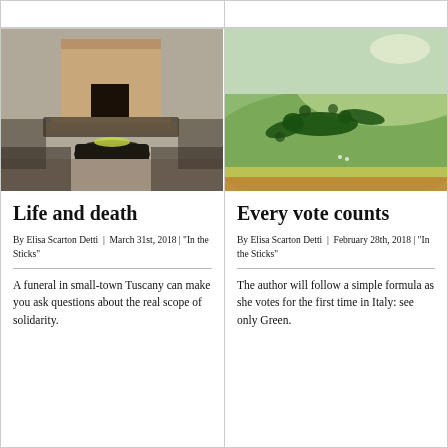[Figure (photo): Aerial view of a funeral procession outside a brick church in small-town Tuscany, with a hearse and crowd of mourners on steps]
Life and death
By Elisa Scarton Detti | March 31st, 2018 | "In the Sticks"
A funeral in small-town Tuscany can make you ask questions about the real scope of solidarity.
[Figure (photo): Aerial view of a green landscape with trees arranged in a shape resembling a bird or figure on rolling hills]
Every vote counts
By Elisa Scarton Detti | February 28th, 2018 | "In the Sticks"
The author will follow a simple formula as she votes for the first time in Italy: see only Green.